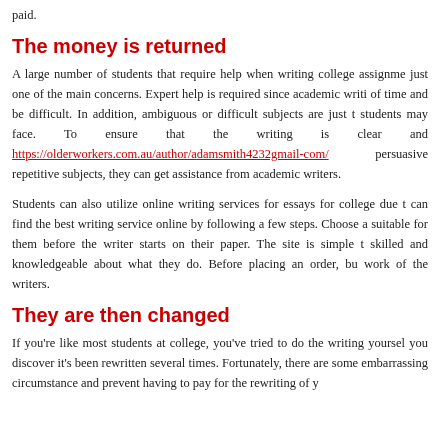paid.
The money is returned
A large number of students that require help when writing college assignments just one of the main concerns. Expert help is required since academic writing can take a lot of time and be difficult. In addition, ambiguous or difficult subjects are just the challenges students may face. To ensure that the writing is clear and https://olderworkers.com.au/author/adamsmith4232gmail-com/ persuasive and to avoid repetitive subjects, they can get assistance from academic writers.
Students can also utilize online writing services for essays for college due to their quality. You can find the best writing service online by following a few steps. Choose a price that is suitable for them before the writer starts on their paper. The site is simple to use and writers are skilled and knowledgeable about what they do. Before placing an order, buyers should review the work of the writers.
They are then changed
If you're like most students at college, you've tried to do the writing yourself, only to find that you discover it's been rewritten several times. Fortunately, there are some ways to avoid this embarrassing circumstance and prevent having to pay for the rewriting of your papers.